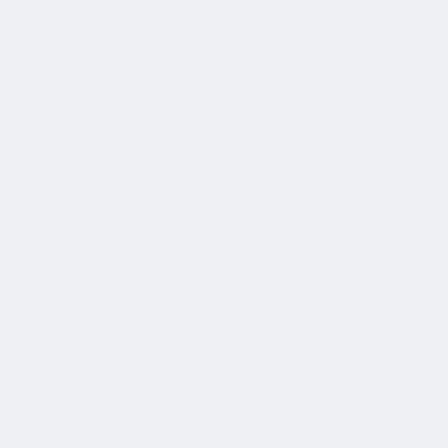Video
Healthy Self is a Powerful DVD to promote Health. Using powerful proven techniques like Self Affirmation, Repetition and subtle audio and visual